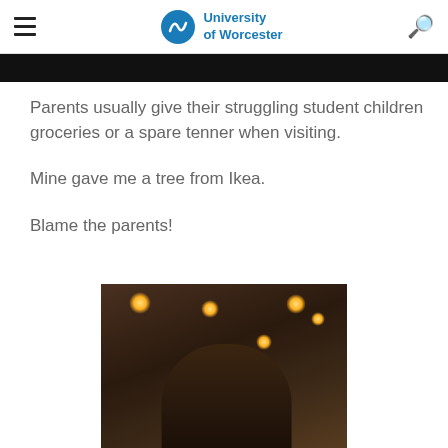University of Worcester
[Figure (photo): Cropped top portion of an image visible below the header nav bar]
Parents usually give their struggling student children groceries or a spare tenner when visiting.
Mine gave me a tree from Ikea.
Blame the parents!
[Figure (photo): Photo of a bearded man looking upward in a dimly lit bar/restaurant setting with warm ceiling lights]